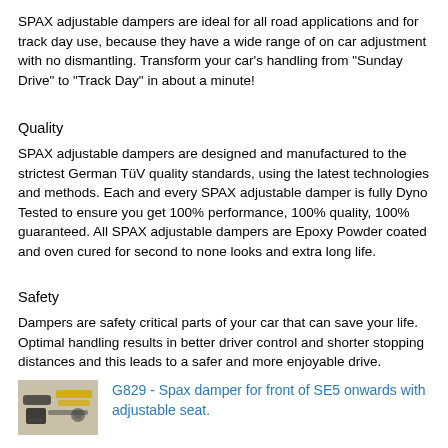SPAX adjustable dampers are ideal for all road applications and for track day use, because they have a wide range of on car adjustment with no dismantling. Transform your car’s handling from “Sunday Drive” to “Track Day” in about a minute!
Quality
SPAX adjustable dampers are designed and manufactured to the strictest German TüV quality standards, using the latest technologies and methods. Each and every SPAX adjustable damper is fully Dyno Tested to ensure you get 100% performance, 100% quality, 100% guaranteed. All SPAX adjustable dampers are Epoxy Powder coated and oven cured for second to none looks and extra long life.
Safety
Dampers are safety critical parts of your car that can save your life. Optimal handling results in better driver control and shorter stopping distances and this leads to a safer and more enjoyable drive.
[Figure (photo): Product photo of SPAX damper G829]
G829 - Spax damper for front of SE5 onwards with adjustable seat.